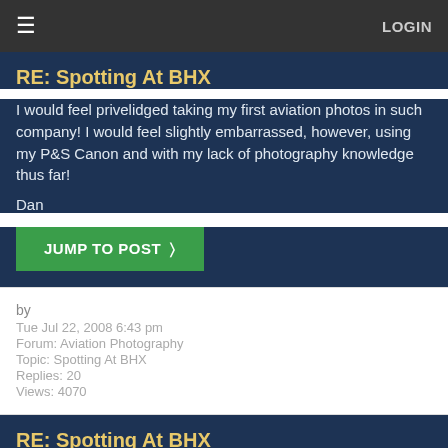LOGIN
RE: Spotting At BHX
I would feel privelidged taking my first aviation photos in such company! I would feel slightly embarrassed, however, using my P&S Canon and with my lack of photography knowledge thus far!

Dan
JUMP TO POST >
by
Tue Jul 22, 2008 6:43 pm
Forum: Aviation Photography
Topic: Spotting At BHX
Replies: 20
Views: 4070
RE: Spotting At BHX
I did not expect to create such an active topic! Thanks for all your replies, I expect I'll be heading down at some point in the not too distant future armed with your advice!

Dan